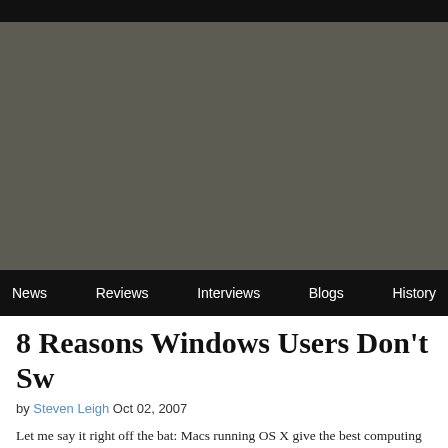[Figure (other): Dark navigation bar at top of webpage with gray image area below]
News  Reviews  Interviews  Blogs  History
8 Reasons Windows Users Don't Sw
by Steven Leigh Oct 02, 2007
Let me say it right off the bat: Macs running OS X give the best computing experi